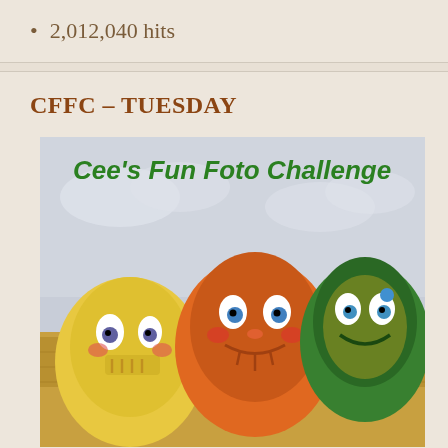2,012,040 hits
CFFC – TUESDAY
[Figure (illustration): Cee's Fun Foto Challenge logo image showing painted decorative gourds/pumpkins with cartoon faces on a hay bale background. Green text at top reads 'Cee's Fun Foto Challenge'.]
CFFC challenge runs weekly on Tuesday.
CMMC – WEDNESDAYS